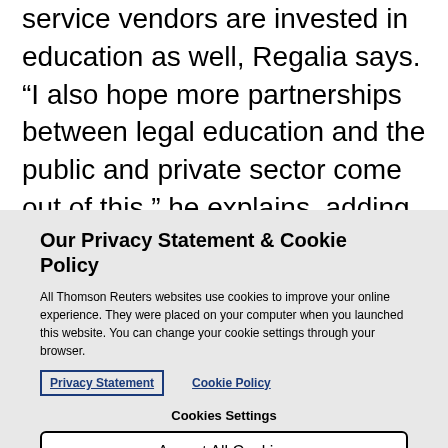service vendors are invested in education as well, Regalia says. “I also hope more partnerships between legal education and the public and private sector come out of this,” he explains, adding that one of the
Our Privacy Statement & Cookie Policy
All Thomson Reuters websites use cookies to improve your online experience. They were placed on your computer when you launched this website. You can change your cookie settings through your browser.
Privacy Statement   Cookie Policy
Cookies Settings
Accept All Cookies